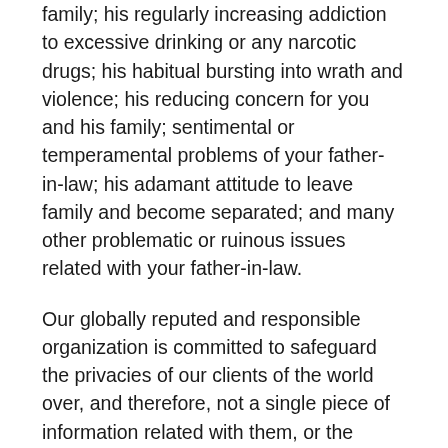family; his regularly increasing addiction to excessive drinking or any narcotic drugs; his habitual bursting into wrath and violence; his reducing concern for you and his family; sentimental or temperamental problems of your father-in-law; his adamant attitude to leave family and become separated; and many other problematic or ruinous issues related with your father-in-law.
Our globally reputed and responsible organization is committed to safeguard the privacies of our clients of the world over, and therefore, not a single piece of information related with them, or the services availed by them is disclosed to any third person, nor is used by us for any institutional or promotional advantages.
Powerful Vashikaran mantra for In-Laws